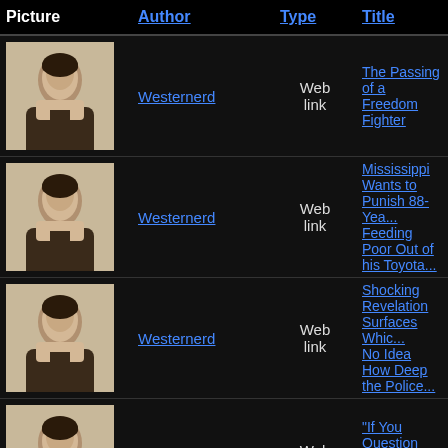| Picture | Author | Type | Title |
| --- | --- | --- | --- |
| [portrait] | Westernerd | Web link | The Passing of a Freedom Fighter |
| [portrait] | Westernerd | Web link | Mississippi Wants to Punish 88-Yea... Feeding Poor Out of his Toyota... |
| [portrait] | Westernerd | Web link | Shocking Revelation Surfaces Whic... No Idea How Deep the Police... |
| [portrait] | Westernerd | Web link | "If You Question Authority, You Are ... Finds |
| [portrait] | Westernerd | Web link | "Protect and Serve?" More like Hate... |
| [portrait] | Westernerd | Web link | American's Fading Love of Freedor... |
| [portrait] | Westernerd | Web link | Another Highly Suspicious Liberty/T... |
| [portrait] | Westernerd | Web link |  |